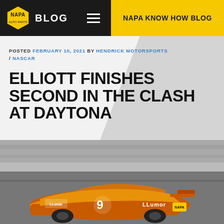NAPA BLOG | NAPA KNOW HOW BLOG
POSTED FEBRUARY 10, 2021 BY HENDRICK MOTORSPORTS / NASCAR
ELLIOTT FINISHES SECOND IN THE CLASH AT DAYTONA
[Figure (photo): NASCAR race car number 9 with LLumar sponsorship in orange and gold livery racing on a track at Daytona, black and white background with colorized car]